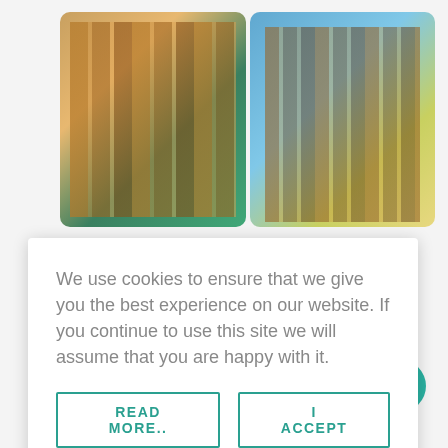[Figure (screenshot): Two side-by-side photos of liquor/spirit bottles]
We use cookies to ensure that we give you the best experience on our website. If you continue to use this site we will assume that you are happy with it.
READ MORE..
I ACCEPT
Replying to @TheLuxuryRep
#bountyrum #nottinghillcarnival #nottinghill #london #londonevents #august #londoncarnival #thebeachcomber #trailerhappinesscocktailbar #beachblanketbabylon #bankholidayweekend #bankholidaymonday #luxuryevents #luxurylifestyle #luxuryproducts #luxuryalcohol